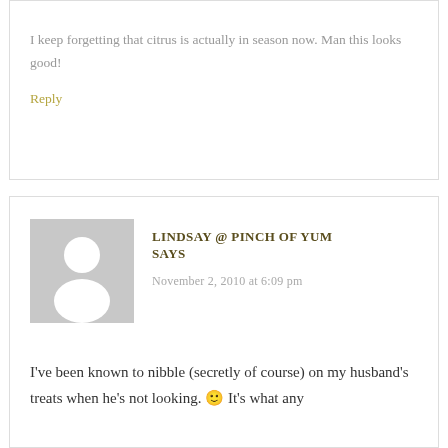I keep forgetting that citrus is actually in season now. Man this looks good!
Reply
[Figure (illustration): User avatar placeholder: gray square with white silhouette of a person (head and shoulders)]
LINDSAY @ PINCH OF YUM SAYS
November 2, 2010 at 6:09 pm
I've been known to nibble (secretly of course) on my husband's treats when he's not looking. 🙂 It's what any